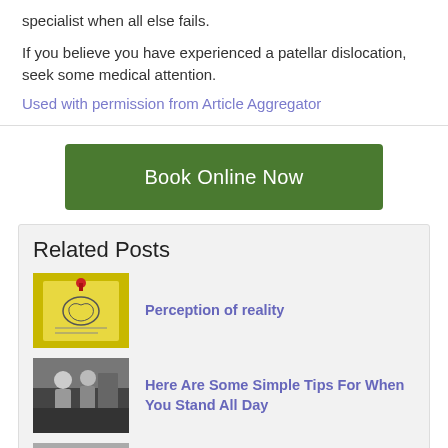specialist when all else fails.
If you believe you have experienced a patellar dislocation, seek some medical attention.
Used with permission from Article Aggregator
[Figure (other): Green 'Book Online Now' button]
Related Posts
[Figure (photo): Yellow sticky note with brain/text image pinned with red thumbtack]
Perception of reality
[Figure (photo): Office workers standing, blurred background]
Here Are Some Simple Tips For When You Stand All Day
[Figure (photo): Partial thumbnail of a third related post]